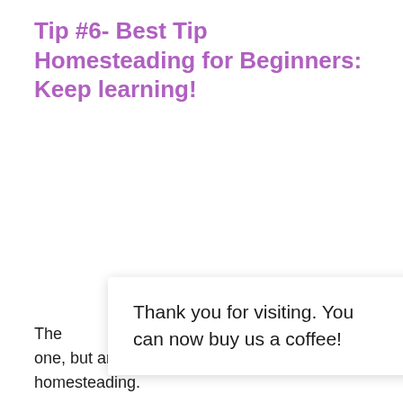Tip #6- Best Tip Homesteading for Beginners: Keep learning!
[Figure (infographic): A popup notification overlay reading 'Thank you for visiting. You can now buy us a coffee!' with an orange circular coffee cup button and a teal arrow button visible at the right edge.]
The [obscured] an one, but an important one. Always be a stude[nt of] homesteading.